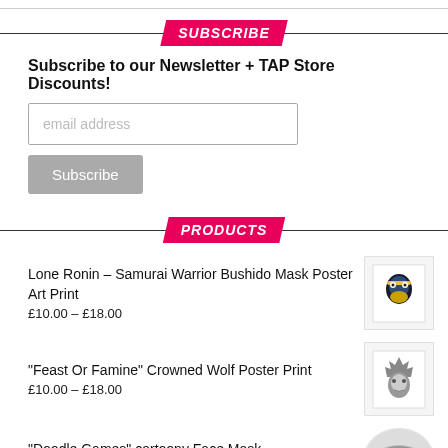SUBSCRIBE
Subscribe to our Newsletter + TAP Store Discounts!
email address
Subscribe
PRODUCTS
Lone Ronin – Samurai Warrior Bushido Mask Poster Art Print
£10.00 – £18.00
[Figure (photo): Samurai Warrior Bushido Mask Poster Art Print product thumbnail]
"Feast Or Famine" Crowned Wolf Poster Print
£10.00 – £18.00
[Figure (photo): Crowned Wolf Poster Print product thumbnail]
"Doodle Games" cartoony Face Mask
£12.00
[Figure (photo): Doodle Games cartoony Face Mask product thumbnail]